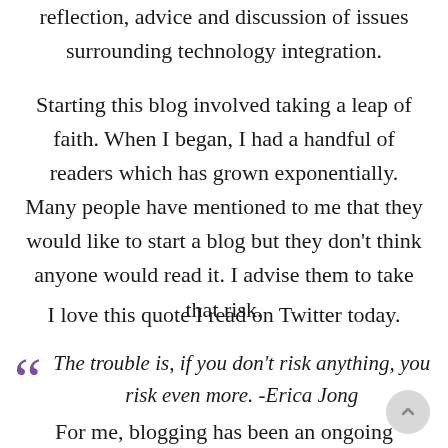reflection, advice and discussion of issues surrounding technology integration.
Starting this blog involved taking a leap of faith. When I began, I had a handful of readers which has grown exponentially. Many people have mentioned to me that they would like to start a blog but they don't think anyone would read it. I advise them to take that risk.
I love this quote I read on Twitter today.
The trouble is, if you don't risk anything, you risk even more. -Erica Jong
For me, blogging has been an ongoing journey.